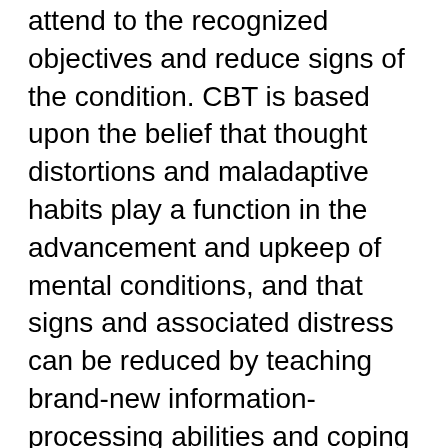attend to the recognized objectives and reduce signs of the condition. CBT is based upon the belief that thought distortions and maladaptive habits play a function in the advancement and upkeep of mental conditions, and that signs and associated distress can be reduced by teaching brand-new information-processing abilities and coping mechanisms.When compared to psychedelic medications, review studies have discovered CBT alone to be as efficient for dealing with less extreme types of anxiety, stress and anxiety, post terrible stress disorder(PTSD), tics, compound abuse, eating disorders and borderline character condition. Some research study suggests that CBT is most effective when combined with medication for treating mental disorders such as significant depressive disorder. In addition, CBT is advised as the very first line of treatment for most of mental conditions in children andadolescents, including hostility and carry out disorder. Scientists have found that other authentic healing interventions were similarly efficient for dealing with specific conditions in